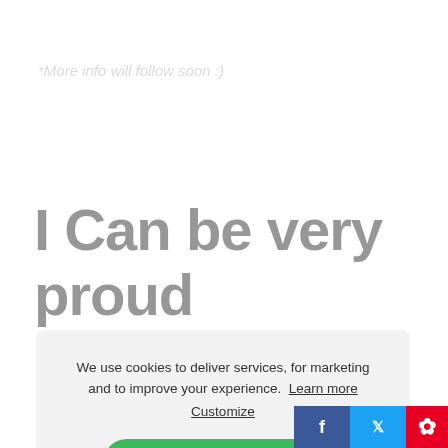*More info will follow soon :)
I Can be very proud breeder :)
We use cookies to deliver services, for marketing and to improve your experience.  Learn more
Customize
Accept all